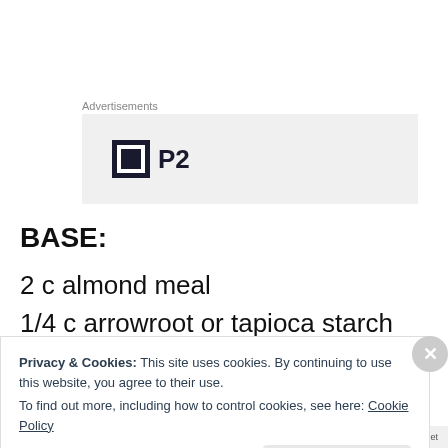Advertisements
[Figure (logo): Advertisement placeholder showing a square logo icon with letter mark and text 'P2']
BASE:
2 c almond meal
1/4 c arrowroot or tapioca starch
1/4 c desiccated coconut
Privacy & Cookies: This site uses cookies. By continuing to use this website, you agree to their use.
To find out more, including how to control cookies, see here: Cookie Policy